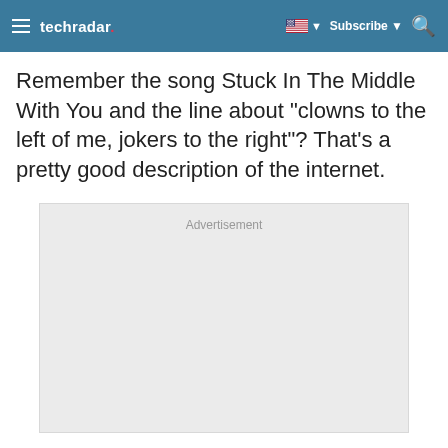techradar
Remember the song Stuck In The Middle With You and the line about "clowns to the left of me, jokers to the right"? That's a pretty good description of the internet.
[Figure (other): Advertisement placeholder box with light grey background and the word 'Advertisement' at the top center]